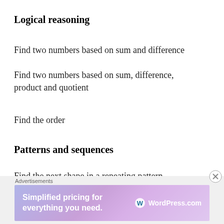Logical reasoning
Find two numbers based on sum and difference
Find two numbers based on sum, difference, product and quotient
Find the order
Patterns and sequences
Find the next shape in a repeating pattern
[Figure (other): Advertisement banner: WordPress.com — Simplified pricing for everything you need.]